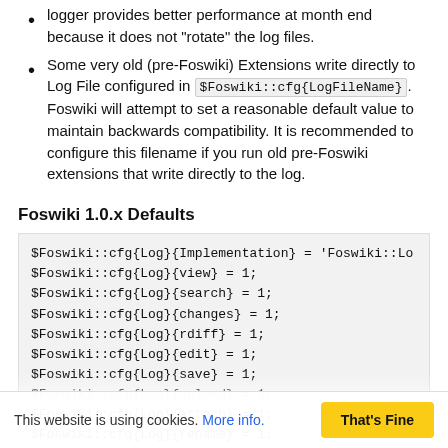logger provides better performance at month end because it does not "rotate" the log files.
Some very old (pre-Foswiki) Extensions write directly to Log File configured in $Foswiki::cfg{LogFileName}. Foswiki will attempt to set a reasonable default value to maintain backwards compatibility. It is recommended to configure this filename if you run old pre-Foswiki extensions that write directly to the log.
Foswiki 1.0.x Defaults
$Foswiki::cfg{Log}{Implementation} = 'Foswiki::Lo
$Foswiki::cfg{Log}{view} = 1;
$Foswiki::cfg{Log}{search} = 1;
$Foswiki::cfg{Log}{changes} = 1;
$Foswiki::cfg{Log}{rdiff} = 1;
$Foswiki::cfg{Log}{edit} = 1;
$Foswiki::cfg{Log}{save} = 1;
$Foswiki::cfg{Log}{upload} = 1;
$Foswiki::cfg{Log}{attach} = 1;
$Foswiki::cfg{Log}{rename} = 1;
$Foswiki::cfg{Log}{register} = 1;
$Foswiki::cfg{ConfigurationLogName...
$Foswiki::cfg{DebugFileName} = 'FoswikiLog...